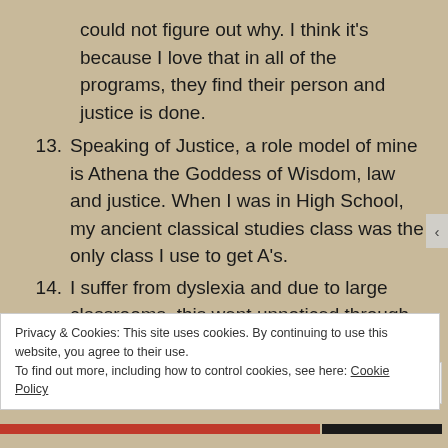could not figure out why. I think it's because I love that in all of the programs, they find their person and justice is done.
13. Speaking of Justice, a role model of mine is Athena the Goddess of Wisdom, law and justice. When I was in High School, my ancient classical studies class was the only class I use to get A's.
14. I suffer from dyslexia and due to large classrooms, this went unnoticed through 99% of my schooling, until Year 12. Where my ancient classical studies teacher recognised and helped me. I know have exercises that help me cope. As annoying as it may be, I constantly I have to re-
Privacy & Cookies: This site uses cookies. By continuing to use this website, you agree to their use.
To find out more, including how to control cookies, see here: Cookie Policy
Close and accept